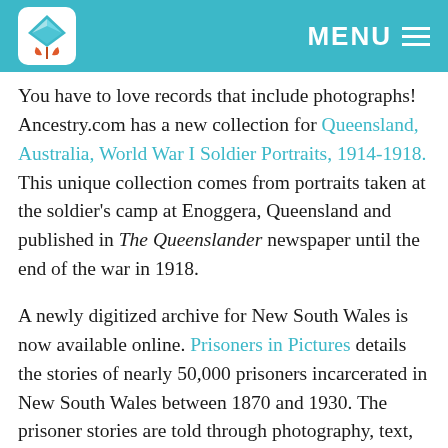MENU
You have to love records that include photographs! Ancestry.com has a new collection for Queensland, Australia, World War I Soldier Portraits, 1914-1918. This unique collection comes from portraits taken at the soldier's camp at Enoggera, Queensland and published in The Queenslander newspaper until the end of the war in 1918.
A newly digitized archive for New South Wales is now available online. Prisoners in Pictures details the stories of nearly 50,000 prisoners incarcerated in New South Wales between 1870 and 1930. The prisoner stories are told through photography, text, an online catalog, and short films with interviews from archivists such as the one below: